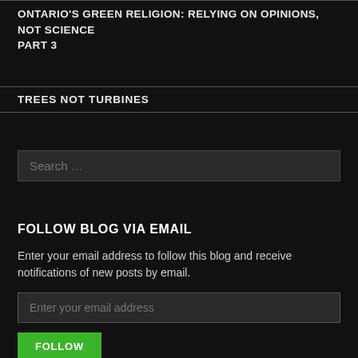ONTARIO'S GREEN RELIGION: RELYING ON OPINIONS, NOT SCIENCE PART 3
TREES NOT TURBINES
Search …
FOLLOW BLOG VIA EMAIL
Enter your email address to follow this blog and receive notifications of new posts by email.
Enter your email address
FOLLOW
Join 1,787 other followers